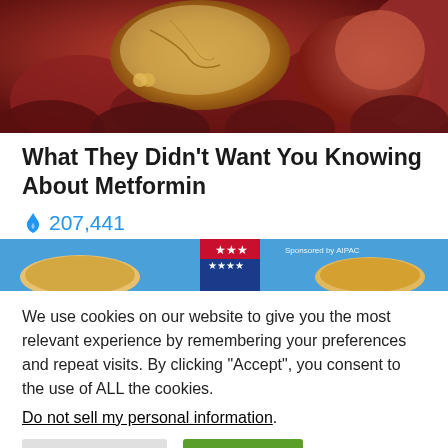[Figure (photo): Close-up medical/anatomical photo showing reddish-brown tissue with a pale yellowish object, possibly depicting internal organs or a medical condition]
What They Didn't Want You Knowing About Metformin
🔥 207,441
[Figure (photo): Partial image showing a blue background with stars (possibly a flag), circular food items, and text 'Sponsored by AIPAC' in the upper right]
We use cookies on our website to give you the most relevant experience by remembering your preferences and repeat visits. By clicking "Accept", you consent to the use of ALL the cookies.
Do not sell my personal information.